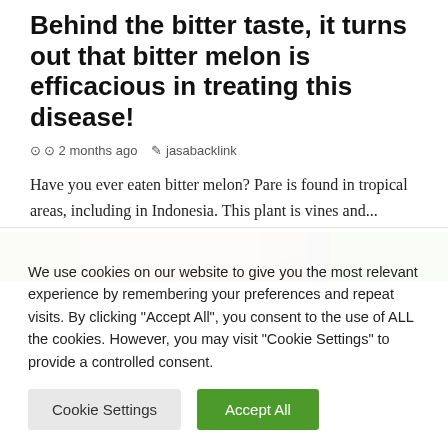Behind the bitter taste, it turns out that bitter melon is efficacious in treating this disease!
2 months ago   jasabacklink
Have you ever eaten bitter melon? Pare is found in tropical areas, including in Indonesia. This plant is vines and...
[Figure (photo): Partial image of a person outdoors with green background, visible at top of page]
We use cookies on our website to give you the most relevant experience by remembering your preferences and repeat visits. By clicking "Accept All", you consent to the use of ALL the cookies. However, you may visit "Cookie Settings" to provide a controlled consent.